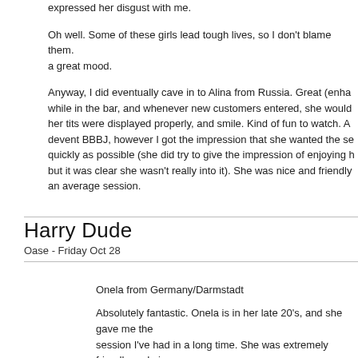expressed her disgust with me.
Oh well. Some of these girls lead tough lives, so I don't blame them. a great mood.
Anyway, I did eventually cave in to Alina from Russia. Great (enha while in the bar, and whenever new customers entered, she would her tits were displayed properly, and smile. Kind of fun to watch. A devent BBBJ, however I got the impression that she wanted the se quickly as possible (she did try to give the impression of enjoying h but it was clear she wasn't really into it). She was nice and friendly an average session.
Harry Dude
Oase - Friday Oct 28
Onela from Germany/Darmstadt
Absolutely fantastic. Onela is in her late 20's, and she gave me the session I've had in a long time. She was extremely friendly and nic and wet kissing, fantastic BBBJ, and very enjoyable sex in multiple an extremely good impression of actually enjoying herself (she foo just talked and killed some time - she was not rushed.
Top notch. Recommended!